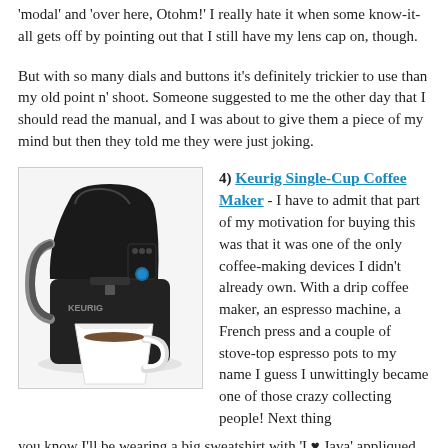'modal' and 'over here, Otohm!' I really hate it when some know-it-all gets off by pointing out that I still have my lens cap on, though.
But with so many dials and buttons it's definitely trickier to use than my old point n' shoot. Someone suggested to me the other day that I should read the manual, and I was about to give them a piece of my mind but then they told me they were just joking.
[Figure (photo): Photo of a black Keurig single-cup coffee maker with a white coffee mug underneath the spout.]
4) Keurig Single-Cup Coffee Maker - I have to admit that part of my motivation for buying this was that it was one of the only coffee-making devices I didn't already own. With a drip coffee maker, an espresso machine, a French press and a couple of stove-top espresso pots to my name I guess I unwittingly became one of those crazy collecting people! Next thing you know I'll be wearing a big sweatshirt with 'I ♥ Java' appliqued on it and getting together with other coffee-maker